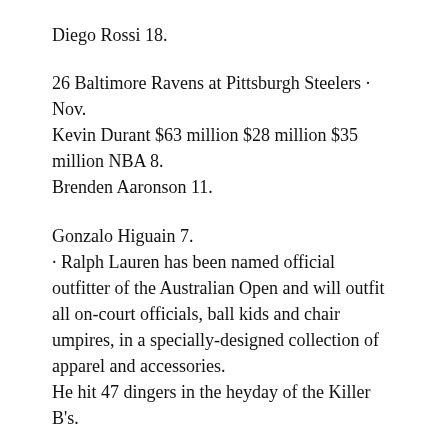Diego Rossi 18.
26 Baltimore Ravens at Pittsburgh Steelers · Nov.
Kevin Durant $63 million $28 million $35 million NBA 8.
Brenden Aaronson 11.
Gonzalo Higuain 7.
· Ralph Lauren has been named official outfitter of the Australian Open and will outfit all on-court officials, ball kids and chair umpires, in a specially-designed collection of apparel and accessories.
He hit 47 dingers in the heyday of the Killer B's.